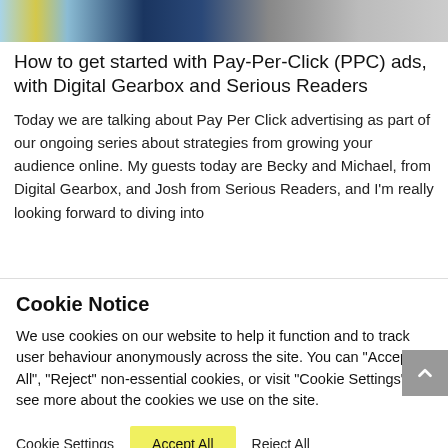[Figure (photo): Partial hero image showing people, used as article banner]
How to get started with Pay-Per-Click (PPC) ads, with Digital Gearbox and Serious Readers
Today we are talking about Pay Per Click advertising as part of our ongoing series about strategies from growing your audience online. My guests today are Becky and Michael, from Digital Gearbox, and Josh from Serious Readers, and I'm really looking forward to diving into
Cookie Notice
We use cookies on our website to help it function and to track user behaviour anonymously across the site. You can "Accept All", "Reject" non-essential cookies, or visit "Cookie Settings" to see more about the cookies we use on the site.